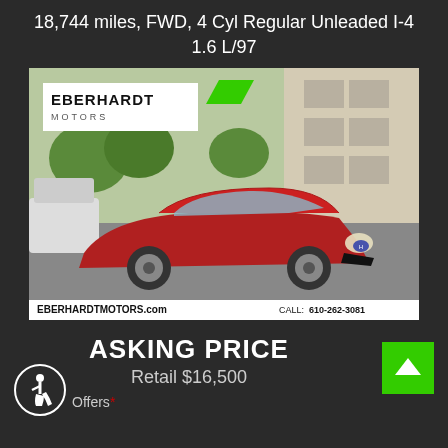18,744 miles, FWD, 4 Cyl Regular Unleaded I-4 1.6 L/97
[Figure (photo): Red Hyundai Accent sedan at Eberhardt Motors dealership lot. White sign reads EBERHARDT MOTORS with green chevron logo. Footer bar shows EBERHARDTMOTORS.com and CALL: 610-262-3081]
ASKING PRICE
Retail $16,500
Offers